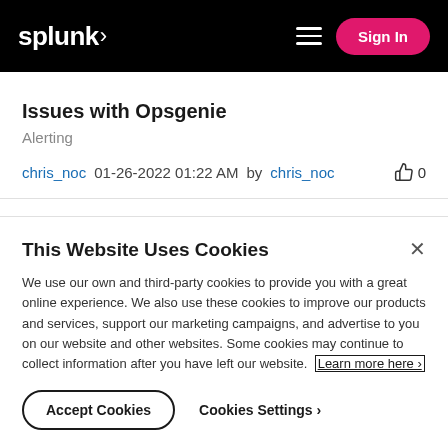splunk> Sign In
Issues with Opsgenie
Alerting
chris_noc  01-26-2022 01:22 AM  by chris_noc   0
This Website Uses Cookies
We use our own and third-party cookies to provide you with a great online experience. We also use these cookies to improve our products and services, support our marketing campaigns, and advertise to you on our website and other websites. Some cookies may continue to collect information after you have left our website.  Learn more here ›
Accept Cookies   Cookies Settings ›